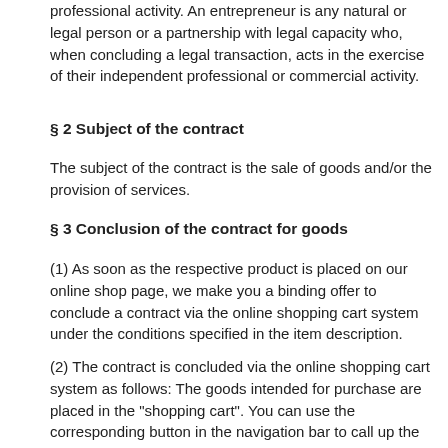professional activity. An entrepreneur is any natural or legal person or a partnership with legal capacity who, when concluding a legal transaction, acts in the exercise of their independent professional or commercial activity.
§ 2 Subject of the contract
The subject of the contract is the sale of goods and/or the provision of services.
§ 3 Conclusion of the contract for goods
(1) As soon as the respective product is placed on our online shop page, we make you a binding offer to conclude a contract via the online shopping cart system under the conditions specified in the item description.
(2) The contract is concluded via the online shopping cart system as follows: The goods intended for purchase are placed in the "shopping cart". You can use the corresponding button in the navigation bar to call up the